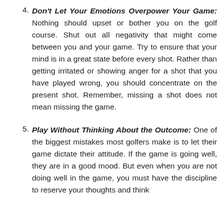4. Don't Let Your Emotions Overpower Your Game: Nothing should upset or bother you on the golf course. Shut out all negativity that might come between you and your game. Try to ensure that your mind is in a great state before every shot. Rather than getting irritated or showing anger for a shot that you have played wrong, you should concentrate on the present shot. Remember, missing a shot does not mean missing the game.
5. Play Without Thinking About the Outcome: One of the biggest mistakes most golfers make is to let their game dictate their attitude. If the game is going well, they are in a good mood. But even when you are not doing well in the game, you must have the discipline to reserve your thoughts and think